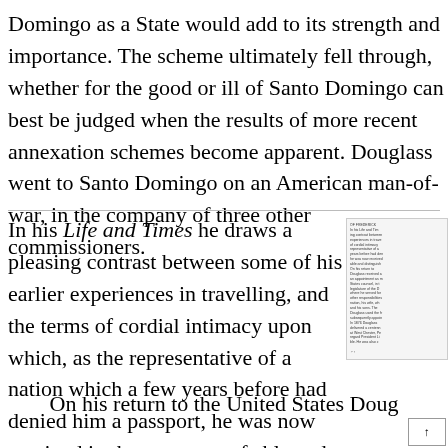Domingo as a State would add to its strength and importance. The scheme ultimately fell through, whether for the good or ill of Santo Domingo can best be judged when the results of more recent annexation schemes become apparent. Douglass went to Santo Domingo on an American man-of-war, in the company of three other commissioners.
In his Life and Times he draws a pleasing contrast between some of his earlier experiences in travelling, and the terms of cordial intimacy upon which, as the representative of a nation which a few years before had denied him a passport, he was now received in the company of able and distinguished gentlemen.
[Figure (screenshot): Small thumbnail image of a printed text page, showing dense columns of small text, partially visible.]
On his return to the United States Doug
↑